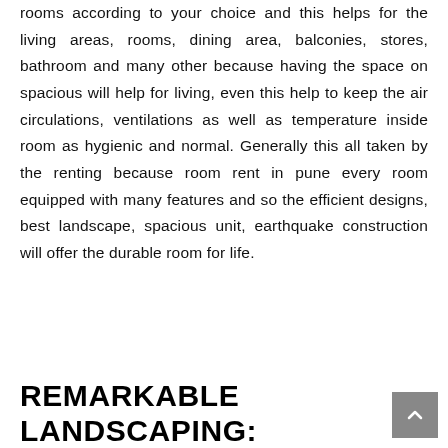rooms according to your choice and this helps for the living areas, rooms, dining area, balconies, stores, bathroom and many other because having the space on spacious will help for living, even this help to keep the air circulations, ventilations as well as temperature inside room as hygienic and normal. Generally this all taken by the renting because room rent in pune every room equipped with many features and so the efficient designs, best landscape, spacious unit, earthquake construction will offer the durable room for life.
REMARKABLE LANDSCAPING: